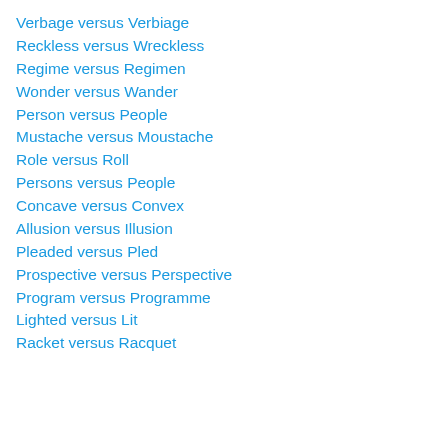Verbage versus Verbiage
Reckless versus Wreckless
Regime versus Regimen
Wonder versus Wander
Person versus People
Mustache versus Moustache
Role versus Roll
Persons versus People
Concave versus Convex
Allusion versus Illusion
Pleaded versus Pled
Prospective versus Perspective
Program versus Programme
Lighted versus Lit
Racket versus Racquet